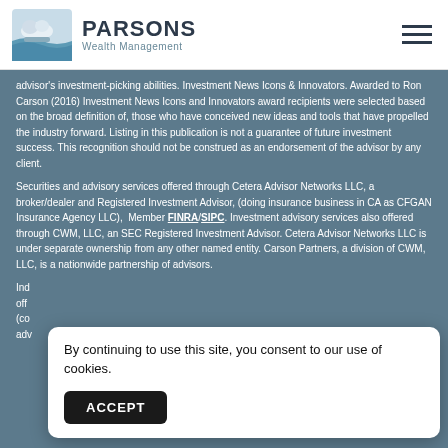PARSONS Wealth Management
advisor's investment-picking abilities. Investment News Icons & Innovators. Awarded to Ron Carson (2016) Investment News Icons and Innovators award recipients were selected based on the broad definition of, those who have conceived new ideas and tools that have propelled the industry forward. Listing in this publication is not a guarantee of future investment success. This recognition should not be construed as an endorsement of the advisor by any client.
Securities and advisory services offered through Cetera Advisor Networks LLC, a broker/dealer and Registered Investment Advisor, (doing insurance business in CA as CFGAN Insurance Agency LLC), Member FINRA/SIPC. Investment advisory services also offered through CWM, LLC, an SEC Registered Investment Advisor. Cetera Advisor Networks LLC is under separate ownership from any other named entity. Carson Partners, a division of CWM, LLC, is a nationwide partnership of advisors.
By continuing to use this site, you consent to our use of cookies.
ACCEPT